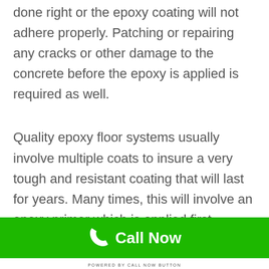done right or the epoxy coating will not adhere properly. Patching or repairing any cracks or other damage to the concrete before the epoxy is applied is required as well.
Quality epoxy floor systems usually involve multiple coats to insure a very tough and resistant coating that will last for years. Many times, this will involve an epoxy primer which is applied first.
POWERED BY CALL NOW BUTTON